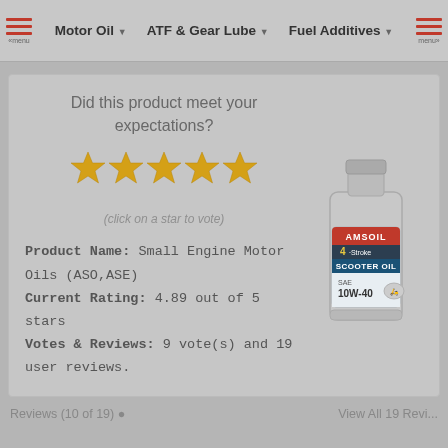Motor Oil  |  ATF & Gear Lube  |  Fuel Additives
Did this product meet your expectations?
[Figure (other): Five gold star rating icons for user voting]
(click on a star to vote)
Product Name: Small Engine Motor Oils (ASO,ASE)
Current Rating: 4.89 out of 5 stars
Votes & Reviews: 9 vote(s) and 19 user reviews.
[Figure (photo): AMSOIL 4-Stroke Scooter Oil SAE 10W-40 product bottle]
Reviews (10 of 19)  |  View All 19 Revi...